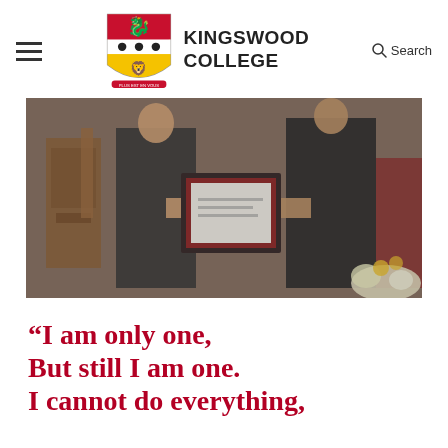Kingswood College – Navigation header with hamburger menu, crest logo, college name, and search
[Figure (photo): Two people in formal dark attire exchanging a framed certificate/diploma in a wood-panelled hall with brick wall background; flowers visible in foreground right]
“I am only one, But still I am one. I cannot do everything,